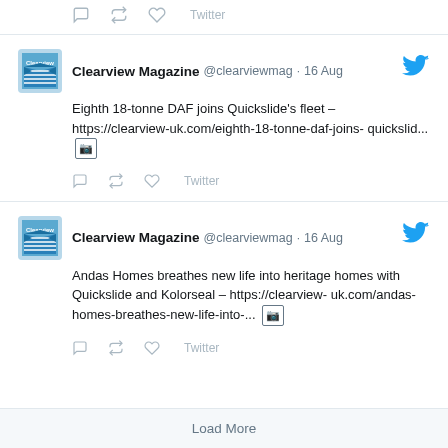Twitter (actions row top)
Clearview Magazine @clearviewmag · 16 Aug — Eighth 18-tonne DAF joins Quickslide's fleet – https://clearview-uk.com/eighth-18-tonne-daf-joins-quickslid... [image]
Twitter (actions row middle)
Clearview Magazine @clearviewmag · 16 Aug — Andas Homes breathes new life into heritage homes with Quickslide and Kolorseal – https://clearview-uk.com/andas-homes-breathes-new-life-into-... [image]
Twitter (actions row bottom)
Load More